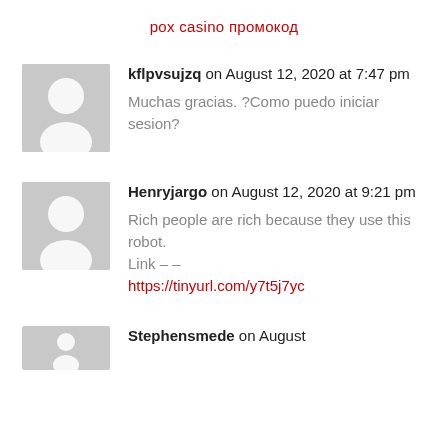рox casino промокод
kflpvsujzq on August 12, 2020 at 7:47 pm
Muchas gracias. ?Como puedo iniciar sesion?
Henryjargo on August 12, 2020 at 9:21 pm
Rich people are rich because they use this robot.
Link – –
https://tinyurl.com/y7t5j7yc
Stephensmede on August